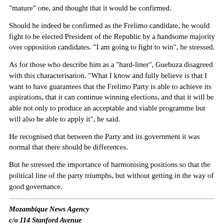"mature" one, and thought that it would be confirmed.
Should he indeed be confirmed as the Frelimo candidate, he would fight to be elected President of the Republic by a handsome majority over opposition candidates. "I am going to fight to win", he stressed.
As for those who describe him as a "hard-liner", Guebuza disagreed with this characterisation. "What I know and fully believe is that I want to have guarantees that the Frelimo Party is able to achieve its aspirations, that it can continue winning elections, and that it will be able not only to produce an acceptable and viable programme but will also be able to apply it", he said.
He recognised that between the Party and its government it was normal that there should be differences.
But he stressed the importance of harmonising positions so that the political line of the party triumphs, but without getting in the way of good governance.
Mozambique News Agency
c/o 114 Stanford Avenue
Brighton BN1 6FE
UK